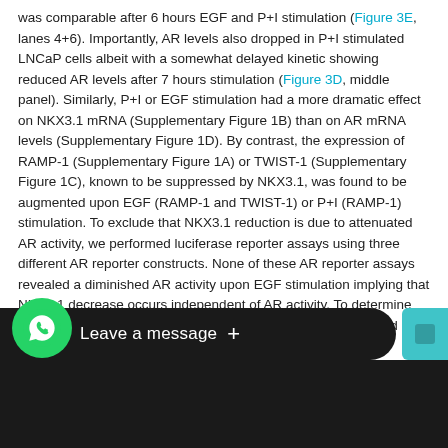was comparable after 6 hours EGF and P+I stimulation (Figure 3E, lanes 4+6). Importantly, AR levels also dropped in P+I stimulated LNCaP cells albeit with a somewhat delayed kinetic showing reduced AR levels after 7 hours stimulation (Figure 3D, middle panel). Similarly, P+I or EGF stimulation had a more dramatic effect on NKX3.1 mRNA (Supplementary Figure 1B) than on AR mRNA levels (Supplementary Figure 1D). By contrast, the expression of RAMP-1 (Supplementary Figure 1A) or TWIST-1 (Supplementary Figure 1C), known to be suppressed by NKX3.1, was found to be augmented upon EGF (RAMP-1 and TWIST-1) or P+I (RAMP-1) stimulation. To exclude that NKX3.1 reduction is due to attenuated AR activity, we performed luciferase reporter assays using three different AR reporter constructs. None of these AR reporter assays revealed a diminished AR activity upon EGF stimulation implying that NKX3.1 decrease occurs independent of AR activity. To determine whether the delayed AR reduction is a consequence of reduced NKX3.1 levels, we analyzed AR NKX3.1 expression after transfecting siRNAs for both — reduced basal NKX3.1 mR...
[Figure (screenshot): WhatsApp chat widget overlay with green phone icon button, 'Leave a message +' chat bubble text on dark background, and a teal square button on the right]